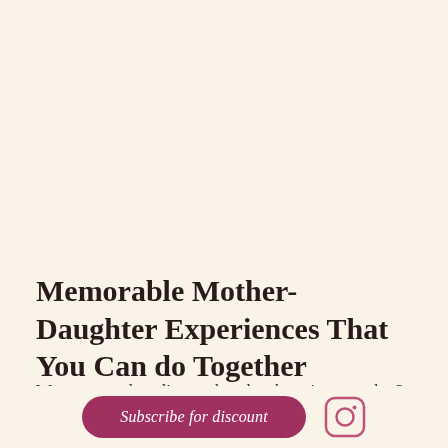Memorable Mother-Daughter Experiences That You Can do Together
Want to spend quality mother-daughter time together? Do something t...